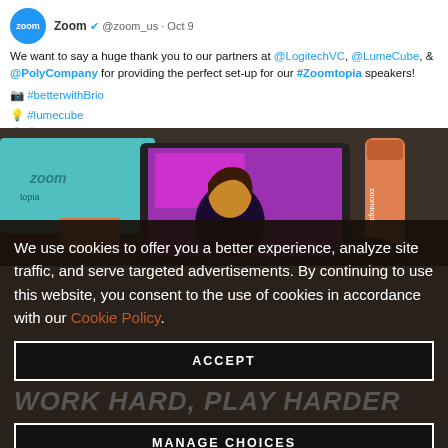Zoom @zoom_us · Oct 9
We want to say a huge thank you to our partners at @LogitechVC, @LumeCube, & @PolyCompany for providing the perfect set-up for our #Zoomtopia speakers!
📷 #betterwithBrio
💡 #lumecube
🎙️🔊 #Calisto5300
[Figure (photo): Photo of a Zoom-branded box, a laptop displaying a purple Zoomtopia slide with a speaker, and an orange Zoomtopia water bottle on a dark desk.]
We use cookies to offer you a better experience, analyze site traffic, and serve targeted advertisements. By continuing to use this website, you consent to the use of cookies in accordance with our Cookie Policy.
ACCEPT
WORK HARD, PLAY HARDER
MANAGE CHOICES
PLATFORM